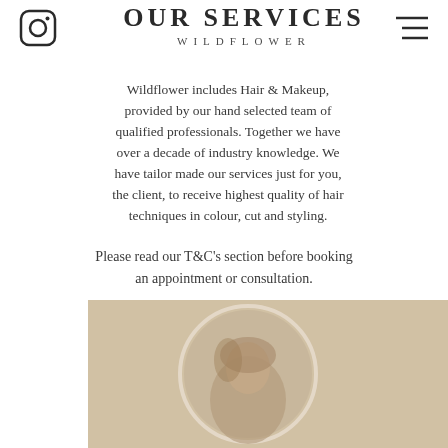[Figure (logo): Instagram icon (rounded square outline with circle and dot) in top-left corner]
OUR SERVICES
WILDFLOWER
[Figure (other): Hamburger menu icon (three horizontal lines) in top-right corner]
Wildflower includes Hair & Makeup, provided by our hand selected team of qualified professionals. Together we have over a decade of industry knowledge. We have tailor made our services just for you, the client, to receive highest quality of hair techniques in colour, cut and styling.
Please read our T&C's section before booking an appointment or consultation.
[Figure (photo): A person with styled hair seen through or near a round mirror, warm beige/tan background, partial face visible]